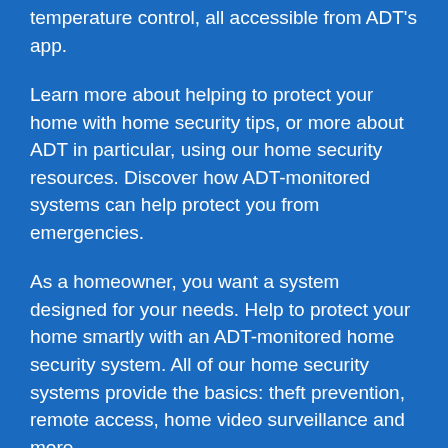temperature control, all accessible from ADT's app.
Learn more about helping to protect your home with home security tips, or more about ADT in particular, using our home security resources. Discover how ADT-monitored systems can help protect you from emergencies.
As a homeowner, you want a system designed for your needs. Help to protect your home smartly with an ADT-monitored home security system. All of our home security systems provide the basics: theft prevention, remote access, home video surveillance and more.
The Protect Your Home Difference provides you with the top home automation services that will help keep your home safe, smart and efficient.
ADT is the most trusted home security company in